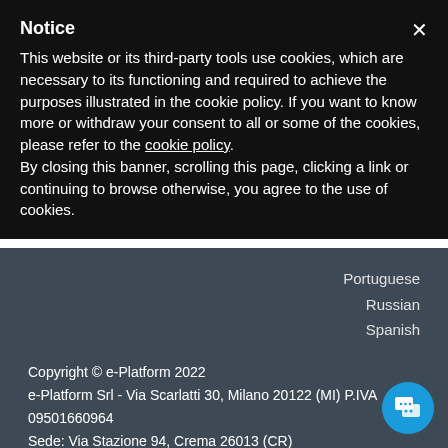Notice
This website or its third-party tools use cookies, which are necessary to its functioning and required to achieve the purposes illustrated in the cookie policy. If you want to know more or withdraw your consent to all or some of the cookies, please refer to the cookie policy.
By closing this banner, scrolling this page, clicking a link or continuing to browse otherwise, you agree to the use of cookies.
Portuguese
Russian
Spanish
Copyright © e-Platform 2022
e-Platform Srl - Via Scarlatti 30, Milano 20122 (MI) P.IVA 09501660964
Sede: Via Stazione 94, Crema 26013 (CR)
☎ +39 0373 204839